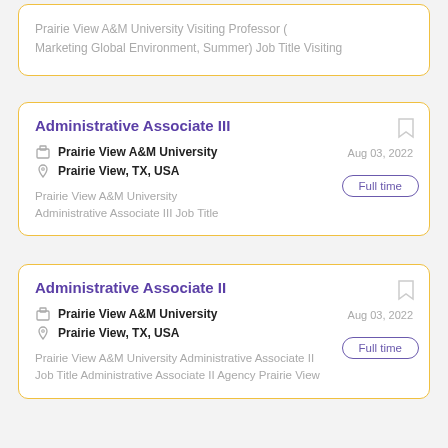Prairie View A&M University Visiting Professor ( Marketing Global Environment, Summer) Job Title Visiting
Administrative Associate III
Prairie View A&M University
Prairie View, TX, USA
Aug 03, 2022
Full time
Prairie View A&M University Administrative Associate III Job Title
Administrative Associate II
Prairie View A&M University
Prairie View, TX, USA
Aug 03, 2022
Full time
Prairie View A&M University Administrative Associate II Job Title Administrative Associate II Agency Prairie View